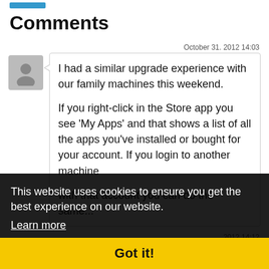Comments
October 31. 2012 14:03
I had a similar upgrade experience with our family machines this weekend.

If you right-click in the Store app you see 'My Apps' and that shows a list of all the apps you've installed or bought for your account. If you login to another machine with that account you can do the same...
This website uses cookies to ensure you get the best experience on our website.
Learn more
Got it!
2012 14:12
thanks John. I suspected there might be a